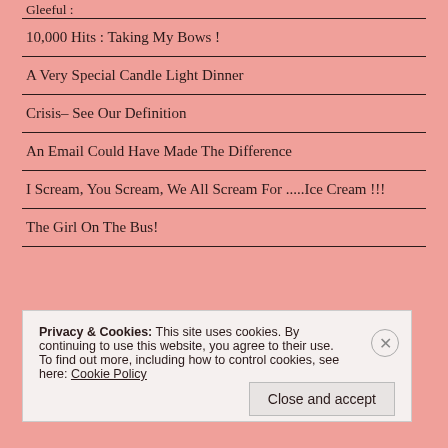Gleeful :
10,000 Hits : Taking My Bows !
A Very Special Candle Light Dinner
Crisis– See Our Definition
An Email Could Have Made The Difference
I Scream, You Scream, We All Scream For .....Ice Cream !!!
The Girl On The Bus!
Privacy & Cookies: This site uses cookies. By continuing to use this website, you agree to their use. To find out more, including how to control cookies, see here: Cookie Policy